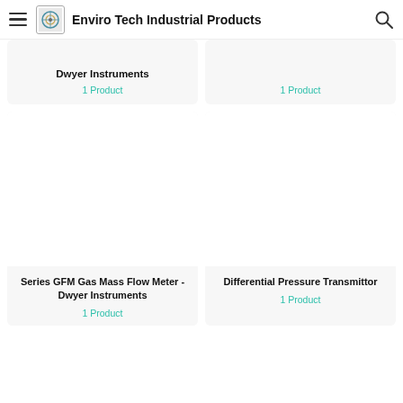Enviro Tech Industrial Products
Dwyer Instruments
1 Product
1 Product
Series GFM Gas Mass Flow Meter - Dwyer Instruments
1 Product
Differential Pressure Transmittor
1 Product